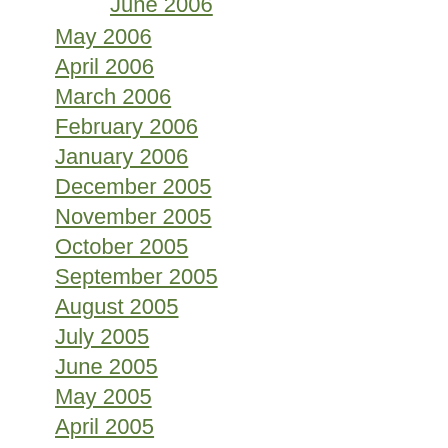June 2006
May 2006
April 2006
March 2006
February 2006
January 2006
December 2005
November 2005
October 2005
September 2005
August 2005
July 2005
June 2005
May 2005
April 2005
March 2005
February 2005
January 2005
December 2004